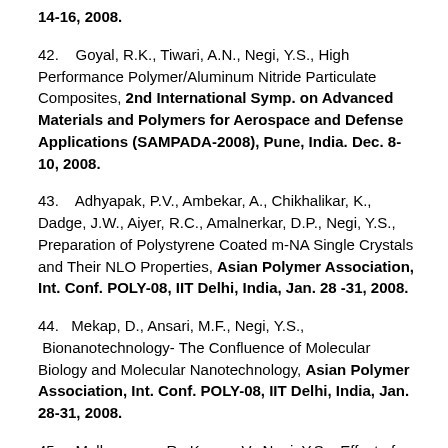14-16, 2008.
42.   Goyal, R.K., Tiwari, A.N., Negi, Y.S., High Performance Polymer/Aluminum Nitride Particulate Composites, 2nd International Symp. on Advanced Materials and Polymers for Aerospace and Defense Applications (SAMPADA-2008), Pune, India. Dec. 8-10, 2008.
43.   Adhyapak, P.V., Ambekar, A., Chikhalikar, K.,  Dadge, J.W., Aiyer, R.C., Amalnerkar, D.P., Negi, Y.S., Preparation of Polystyrene Coated m-NA Single Crystals and Their NLO Properties, Asian Polymer Association, Int. Conf. POLY-08, IIT Delhi, India, Jan. 28 -31, 2008.
44.   Mekap, D., Ansari, M.F., Negi, Y.S.,  Bionanotechnology- The Confluence of Molecular Biology and Molecular Nanotechnology, Asian Polymer Association, Int. Conf. POLY-08, IIT Delhi, India, Jan. 28-31, 2008.
45.   Malkapuram, R., Kumar, V., Negi, Y.S.,  Effect of Fiber Pretreatment on the Performance of Pine Needle Fiber